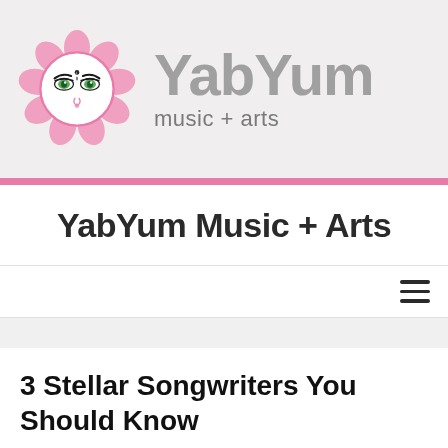[Figure (logo): YabYum Music + Arts logo with a stylized face inside a pink lotus flower, followed by the text 'YabYum' in large gray bold font and 'music + arts' below it]
YabYum Music + Arts
[Figure (infographic): Hamburger menu icon (three horizontal lines) in the top right corner of the navigation bar]
3 Stellar Songwriters You Should Know